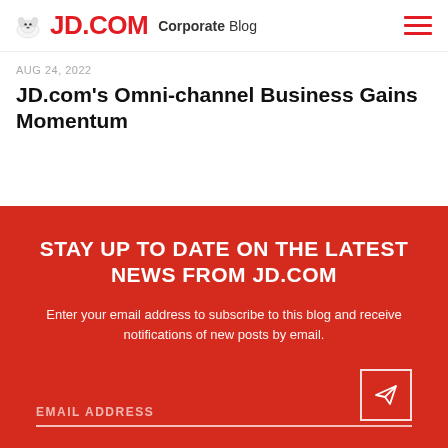JD.COM Corporate Blog
AUG 24, 2022
JD.com's Omni-channel Business Gains Momentum
STAY UP TO DATE ON THE LATEST NEWS FROM JD.COM
Enter your email address to subscribe to this blog and receive notifications of new posts by email.
EMAIL ADDRESS